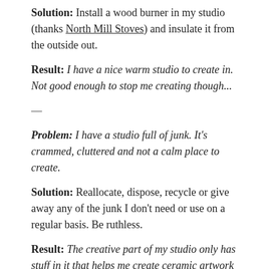Solution: Install a wood burner in my studio (thanks North Mill Stoves) and insulate it from the outside out.
Result: I have a nice warm studio to create in. Not good enough to stop me creating though...
—
Problem: I have a studio full of junk. It's crammed, cluttered and not a calm place to create.
Solution: Reallocate, dispose, recycle or give away any of the junk I don't need or use on a regular basis. Be ruthless.
Result: The creative part of my studio only has stuff in it that helps me create ceramic artwork and is a nicer place to be.
*there is an ever-growing movement around minimalist living. My friends John and Jenny are such